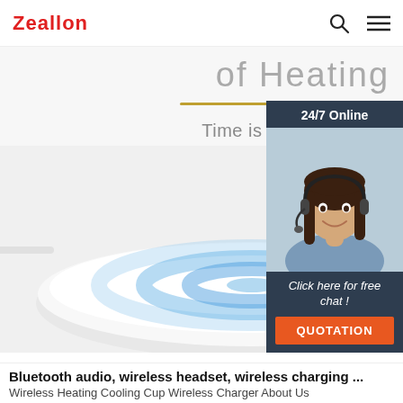Zeallon
of Heating Base
Time is long, accompanied by my
[Figure (photo): A white wireless charging pad with blue glowing rings and a finger touching it, with a cable attached on the left side, on a light grey background.]
[Figure (photo): 24/7 Online chat widget showing a smiling woman with a headset on a dark blue background, with italic text 'Click here for free chat!' and an orange QUOTATION button.]
Bluetooth audio, wireless headset, wireless charging ...
Wireless Heating Cooling Cup Wireless Charger About Us